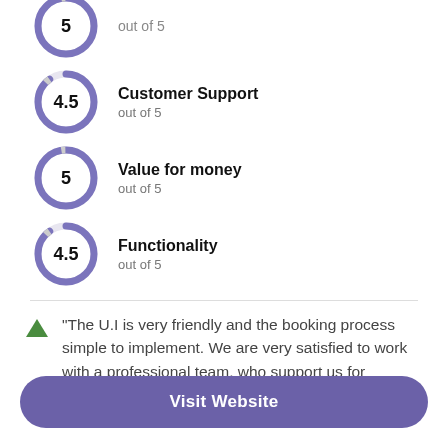[Figure (donut-chart): Donut chart showing score 5 out of 5 (top, partially visible)]
[Figure (donut-chart): Donut chart showing score 4.5 out of 5]
[Figure (donut-chart): Donut chart showing score 5 out of 5]
[Figure (donut-chart): Donut chart showing score 4.5 out of 5]
"The U.I is very friendly and the booking process simple to implement. We are very satisfied to work with a professional team, who support us for
Visit Website